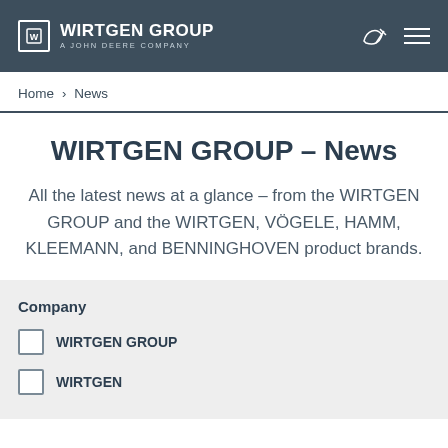WIRTGEN GROUP – A JOHN DEERE COMPANY
Home › News
WIRTGEN GROUP – News
All the latest news at a glance – from the WIRTGEN GROUP and the WIRTGEN, VÖGELE, HAMM, KLEEMANN, and BENNINGHOVEN product brands.
Company
WIRTGEN GROUP
WIRTGEN